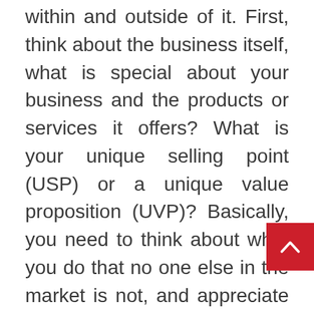within and outside of it. First, think about the business itself, what is special about your business and the products or services it offers? What is your unique selling point (USP) or a unique value proposition (UVP)? Basically, you need to think about what you do that no one else in the market is not, and appreciate what you give to your customers.
Understanding this also involves understanding your customers. If you know what you want your target market, what challenges they face, and what motivates them, then you will be able to assess what you give to them, that solve their problems